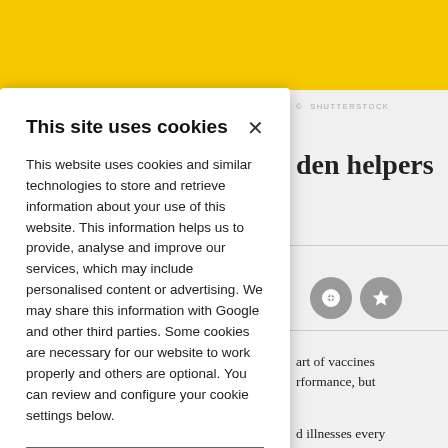[Figure (screenshot): Website page background with yellow top banner and article content partially visible on the right side behind a cookie consent modal. Right side shows partial text 'den helpers', Shutterstock watermark, two grey circular icons, and partial article text about vaccines.]
This site uses cookies
This website uses cookies and similar technologies to store and retrieve information about your use of this website. This information helps us to provide, analyse and improve our services, which may include personalised content or advertising. We may share this information with Google and other third parties. Some cookies are necessary for our website to work properly and others are optional. You can review and configure your cookie settings below.
OK
COOKIE SETTINGS